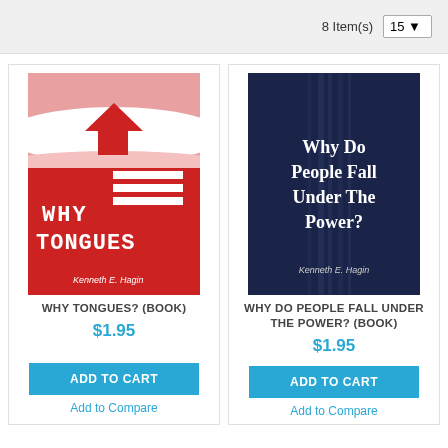8 Item(s)   15
[Figure (illustration): Book cover: WHY TONGUES? by Kenneth E. Hagin — red and white cover with illustrated church/house shape, pixel-art style text reading WHY TONGUES]
WHY TONGUES? (BOOK)
$1.95
ADD TO CART
Add to Compare
[Figure (illustration): Book cover: Why Do People Fall Under The Power? by Kenneth E. Hagin — dark navy blue cover with glowing white title text]
WHY DO PEOPLE FALL UNDER THE POWER? (BOOK)
$1.95
ADD TO CART
Add to Compare